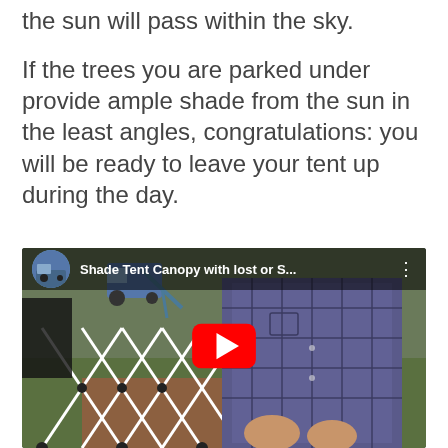the sun will pass within the sky.
If the trees you are parked under provide ample shade from the sun in the least angles, congratulations: you will be ready to leave your tent up during the day.
[Figure (screenshot): YouTube video thumbnail showing a man assembling a white canopy tent frame outdoors. Video title reads 'Shade Tent Canopy with lost or S...' with a red YouTube play button in the center.]